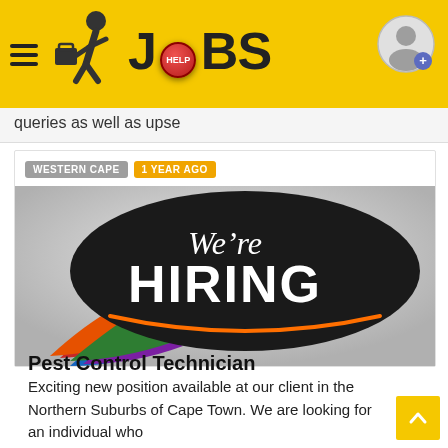JOBS
queries as well as upse
WESTERN CAPE   1 YEAR AGO
[Figure (illustration): Speech bubble graphic with text 'We're HIRING' in white on dark background, with colorful layered speech bubble tails in red, orange, green, teal, purple, blue]
Pest Control Technician
Exciting new position available at our client in the Northern Suburbs of Cape Town. We are looking for an individual who